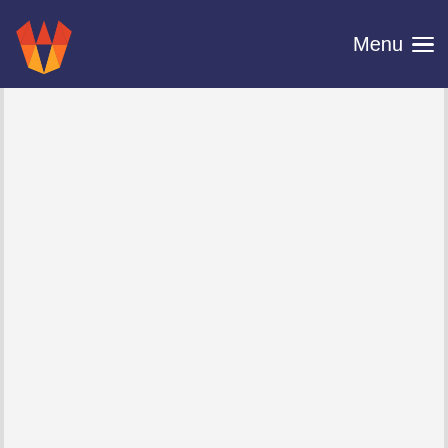Menu
Get docker ready for production
Thom Wiggers committed 5 years ago